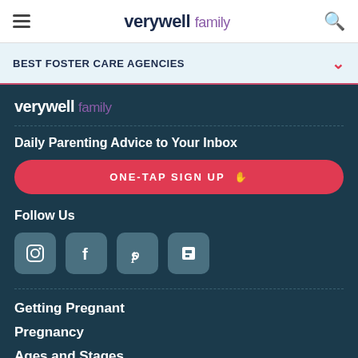verywell family — navigation header with hamburger menu and search icon
BEST FOSTER CARE AGENCIES
verywell family
Daily Parenting Advice to Your Inbox
ONE-TAP SIGN UP
Follow Us
[Figure (infographic): Social media icons: Instagram, Facebook, Pinterest, Flipboard]
Getting Pregnant
Pregnancy
Ages and Stages